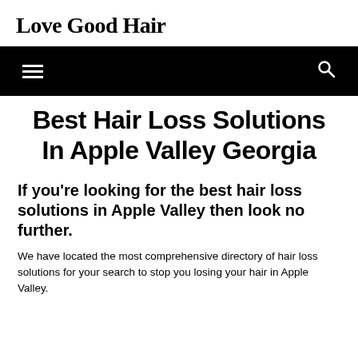Love Good Hair
[Figure (other): Black navigation bar with hamburger menu icon on the left and search icon on the right]
Best Hair Loss Solutions In Apple Valley Georgia
If you're looking for the best hair loss solutions in Apple Valley then look no further.
We have located the most comprehensive directory of hair loss solutions for your search to stop you losing your hair in Apple Valley.